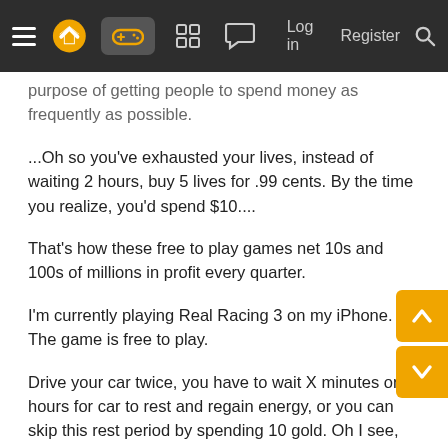Navigation bar with hamburger menu, logo, game controller icon (active), grid icon, chat icon, Log in, Register, Search
purpose of getting people to spend money as frequently as possible.
...Oh so you've exhausted your lives, instead of waiting 2 hours, buy 5 lives for .99 cents. By the time you realize, you'd spend $10....
That's how these free to play games net 10s and 100s of millions in profit every quarter.
I'm currently playing Real Racing 3 on my iPhone. The game is free to play.
Drive your car twice, you have to wait X minutes or hours for car to rest and regain energy, or you can skip this rest period by spending 10 gold. Oh I see, you haven't watched enough ads and you've run out of your weekly 20 free golds well we have the deal of a lifetime for you. Buy this 9000 gold for the low price of $4.